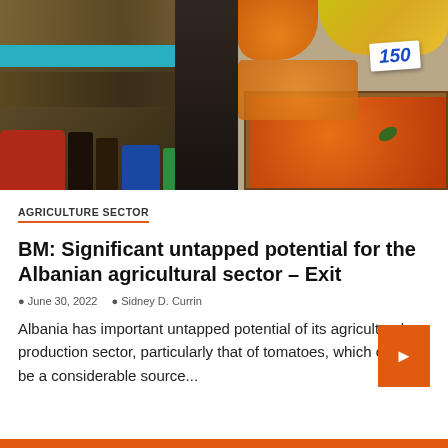[Figure (photo): Indoor market scene showing stalls with grains and dry goods on the left, a dark center aisle, and crates of orange fruits (persimmons/tomatoes) on the right with a price tag showing '150']
AGRICULTURE SECTOR
BM: Significant untapped potential for the Albanian agricultural sector – Exit
June 30, 2022   Sidney D. Currin
Albania has important untapped potential of its agricultural production sector, particularly that of tomatoes, which could be a considerable source...